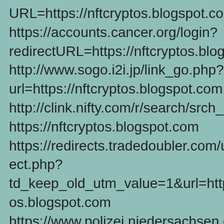URL=https://nftcryptos.blogspot.com https://accounts.cancer.org/login?redirectURL=https://nftcryptos.blogspot.com http://www.sogo.i2i.jp/link_go.php?url=https://nftcryptos.blogspot.com http://clink.nifty.com/r/search/srch_other_f0/?https://nftcryptos.blogspot.com https://redirects.tradedoubler.com/utm/td_redirect.php?td_keep_old_utm_value=1&url=https://nftcryptos.blogspot.com https://www.polizei.niedersachsen.de/portal/styleHandler.php?contract=boll&refresh=https://nftcryptos.blogsp